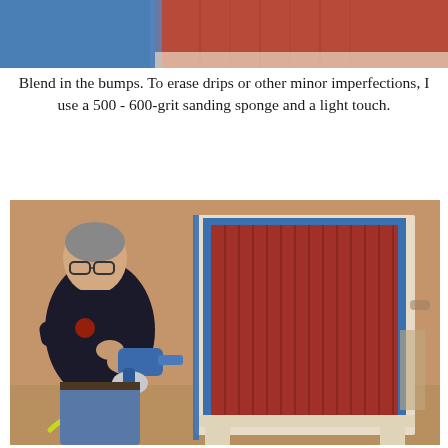[Figure (photo): Close-up top image showing blue painter's tape and red-painted wood surface, likely a cabinet or furniture piece being painted.]
Blend in the bumps. To erase drips or other minor imperfections, I use a 500 - 600-grit sanding sponge and a light touch.
[Figure (photo): A man in a black polo shirt using a blue handheld paint sprayer to spray the interior of a wood cabinet with red/stained panels. The cabinet has a white/natural wood frame with blue painter's tape on edges. The setting appears to be indoors, likely a workshop or garage.]